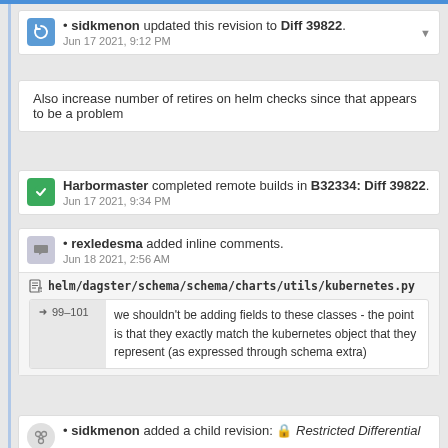• sidkmenon updated this revision to Diff 39822. Jun 17 2021, 9:12 PM
Also increase number of retires on helm checks since that appears to be a problem
Harbormaster completed remote builds in B32334: Diff 39822. Jun 17 2021, 9:34 PM
• rexledesma added inline comments. Jun 18 2021, 2:56 AM
helm/dagster/schema/schema/charts/utils/kubernetes.py
99-101 we shouldn't be adding fields to these classes - the point is that they exactly match the kubernetes object that they represent (as expressed through schema extra)
• sidkmenon added a child revision: Restricted Differential